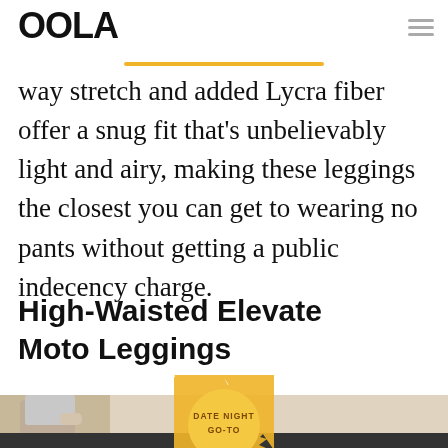OOLA
way stretch and added Lycra fiber offer a snug fit that’s unbelievably light and airy, making these leggings the closest you can get to wearing no pants without getting a public indecency charge.
High-Waisted Elevate Moto Leggings
[Figure (illustration): Badge/seal graphic with sunburst border in gold/orange, containing text DATE NIGHT GO-TO]
[Figure (photo): Partial photo of a person wearing leggings, cropped at bottom of page, light background]